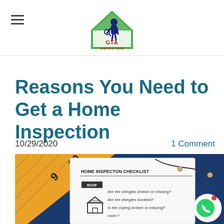GTA INSPECTORS
Reasons You Need to Get a Home Inspection
10/29/2020    1 Comment
[Figure (photo): Home inspection checklist document with a tape measure and glasses, showing ROOF section with questions about shingles and coping]